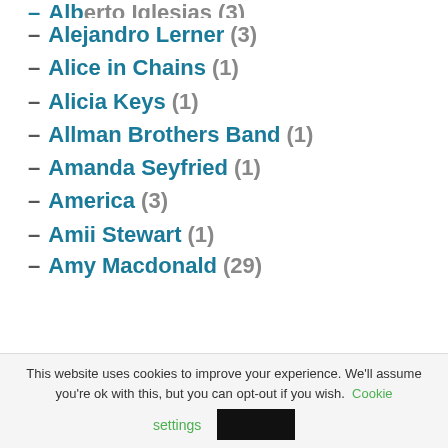– Alejandro Lerner (3)
– Alice in Chains (1)
– Alicia Keys (1)
– Allman Brothers Band (1)
– Amanda Seyfried (1)
– America (3)
– Amii Stewart (1)
– Amy Macdonald (29)
This website uses cookies to improve your experience. We'll assume you're ok with this, but you can opt-out if you wish. Cookie settings